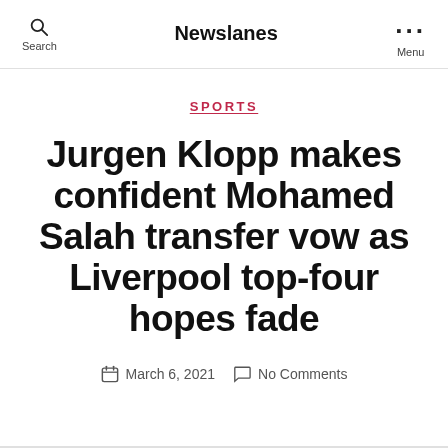Newslanes
SPORTS
Jurgen Klopp makes confident Mohamed Salah transfer vow as Liverpool top-four hopes fade
March 6, 2021   No Comments